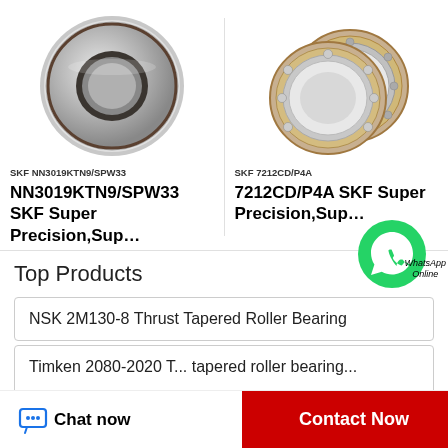[Figure (photo): SKF NN3019KTN9/SPW33 precision bearing, circular silver/chrome bearing viewed at slight angle]
SKF NN3019KTN9/SPW33
NN3019KTN9/SPW33 SKF Super Precision,Sup…
[Figure (photo): SKF 7212CD/P4A angular contact bearings, two thin precision bearings with copper/orange cage and silver rings]
SKF 7212CD/P4A
7212CD/P4A SKF Super Precision,Sup…
[Figure (illustration): WhatsApp green circle icon with phone handset; label reads WhatsApp Online]
Top Products
NSK 2M130-8 Thrust Tapered Roller Bearing
Timken 2080-2020 T... tapered roller bearing...
Chat now   Contact Now